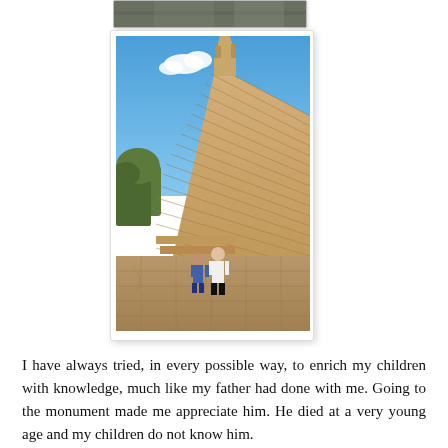[Figure (photo): Partial top of a previous photo, showing a dark/greenish scene, cropped at the top of the page.]
[Figure (photo): Two children standing in front of a large stone statue on a stepped pyramid monument under a bright blue sky with a small white cloud. The monument appears to be made of sandstone or similar material with many horizontal ridges. Stone paving and trees are visible in the background.]
I have always tried, in every possible way, to enrich my children with knowledge, much like my father had done with me. Going to the monument made me appreciate him. He died at a very young age and my children do not know him.